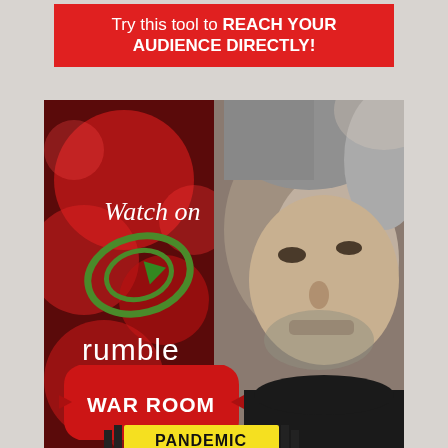[Figure (infographic): Red banner advertisement: 'Try this tool to REACH YOUR AUDIENCE DIRECTLY!' in white text on red background]
[Figure (photo): War Room Pandemic promotional image showing a man's face on the right, red blurred background with viral imagery on the left, Rumble logo and 'Watch on' text, and 'WAR ROOM PANDEMIC' branding at the bottom]